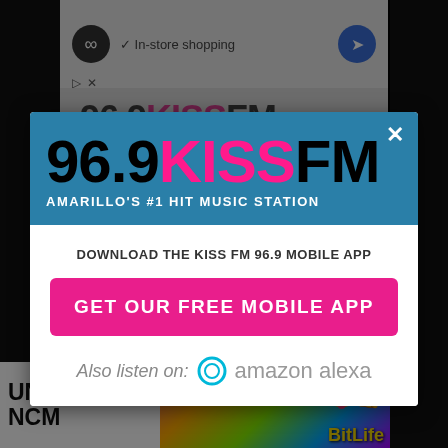[Figure (screenshot): Screenshot of a website with an ad bar at top showing an infinity loop icon and 'In-store shopping' text with a Google Maps-style navigation icon]
[Figure (screenshot): Modal popup for 96.9 KISS FM radio station - Amarillo's #1 Hit Music Station. Contains a download prompt for the Kiss FM 96.9 mobile app with a pink 'GET OUR FREE MOBILE APP' button and Amazon Alexa listening option]
96.9 KISS FM
AMARILLO'S #1 HIT MUSIC STATION
DOWNLOAD THE KISS FM 96.9 MOBILE APP
GET OUR FREE MOBILE APP
Also listen on: amazon alexa
[Figure (screenshot): Bottom advertisement for BitLife game showing rainbow background with 'WHEN REAL LIFE IS QUARANTINED' text and BitLife logo with emoji characters]
UNT